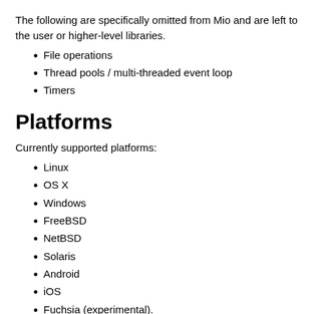The following are specifically omitted from Mio and are left to the user or higher-level libraries.
File operations
Thread pools / multi-threaded event loop
Timers
Platforms
Currently supported platforms:
Linux
OS X
Windows
FreeBSD
NetBSD
Solaris
Android
iOS
Fuchsia (experimental).
The currently supported platforms:...